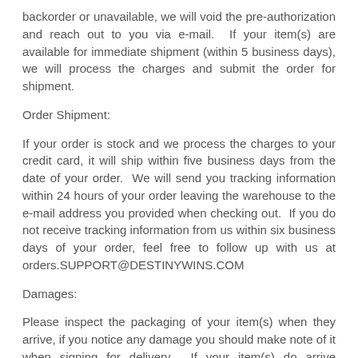backorder or unavailable, we will void the pre-authorization and reach out to you via e-mail.  If your item(s) are available for immediate shipment (within 5 business days), we will process the charges and submit the order for shipment.
Order Shipment:
If your order is stock and we process the charges to your credit card, it will ship within five business days from the date of your order.  We will send you tracking information within 24 hours of your order leaving the warehouse to the e-mail address you provided when checking out.  If you do not receive tracking information from us within six business days of your order, feel free to follow up with us at orders.SUPPORT@DESTINYWINS.COM
Damages:
Please inspect the packaging of your item(s) when they arrive, if you notice any damage you should make note of it when signing for delivery.  If your item(s) do arrive damaged, please send photos to returns.SUPPORT@DESTINYWINS.COM and we